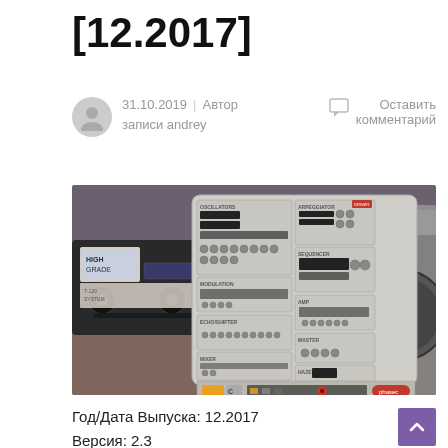[12.2017]
31.10.2019 | Автор записи andrey
Оставить комментарий
[Figure (photo): Photo of VHS cassette tapes with a synthesizer plugin UI overlay showing oscillator, arpeggiator, sequencer, modulation, echo/shifter, mixer, master, and other controls. The plugin is labeled 'phasec' and shows various knobs and buttons. Background has VHS tapes on wooden surface.]
Год/Дата Выпуска: 12.2017
Версия: 2.3
Разработчик: Psychic Modulation